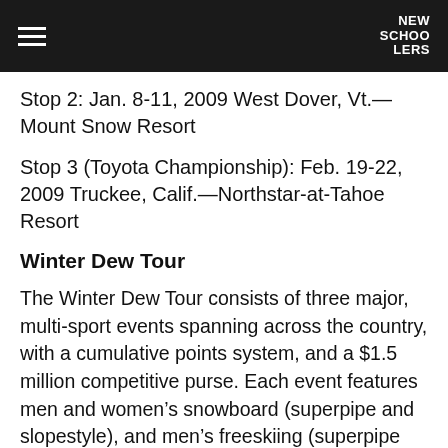NEW SCHOOLERS
Stop 2: Jan. 8-11, 2009 West Dover, Vt.&mdash;Mount Snow Resort
Stop 3 (Toyota Championship): Feb. 19-22, 2009 Truckee, Calif.&mdash;Northstar-at-Tahoe Resort
Winter Dew Tour
The Winter Dew Tour consists of three major, multi-sport events spanning across the country, with a cumulative points system, and a $1.5 million competitive purse. Each event features men and women’s snowboard (superpipe and slopestyle), and men’s freeskiing (superpipe and slopestyle). At season’s end, the overall point’s leaders in the six disciplines are crowned year-end champions and awarded the prestigious Dew Cup. As part of an Alli property, key lifestyle elements